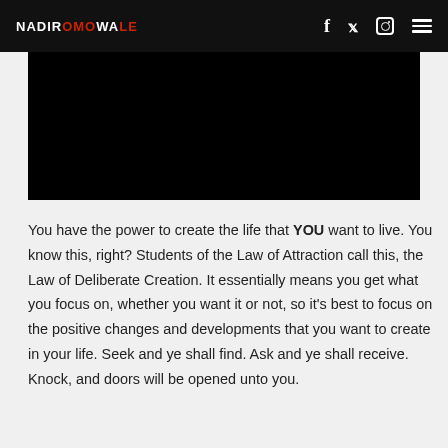NADIROMOWALE — navigation header with social icons
[Figure (other): Black video/image placeholder block]
You have the power to create the life that YOU want to live. You know this, right? Students of the Law of Attraction call this, the Law of Deliberate Creation. It essentially means you get what you focus on, whether you want it or not, so it's best to focus on the positive changes and developments that you want to create in your life. Seek and ye shall find. Ask and ye shall receive. Knock, and doors will be opened unto you.